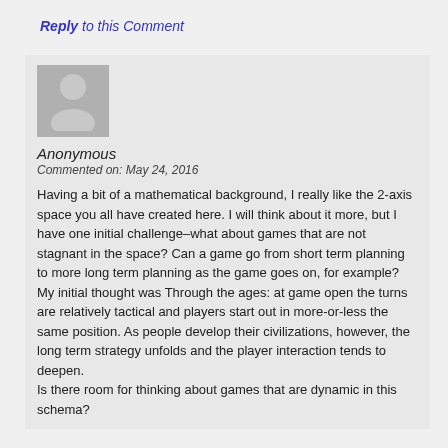Reply to this Comment
[Figure (illustration): Anonymous user avatar — grey silhouette of a person on grey background]
Anonymous
Commented on: May 24, 2016
Having a bit of a mathematical background, I really like the 2-axis space you all have created here. I will think about it more, but I have one initial challenge–what about games that are not stagnant in the space? Can a game go from short term planning to more long term planning as the game goes on, for example?
My initial thought was Through the ages: at game open the turns are relatively tactical and players start out in more-or-less the same position. As people develop their civilizations, however, the long term strategy unfolds and the player interaction tends to deepen.
Is there room for thinking about games that are dynamic in this schema?